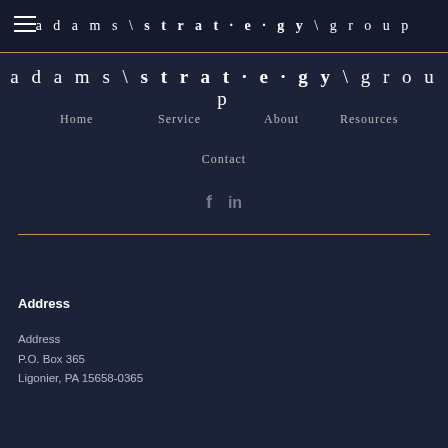adams \ strat·e·gy \ group
adams \ strat·e·gy \ group
Home
Service
About
Resources
Contact
[Figure (infographic): Social media icons: Facebook (f) and LinkedIn (in)]
Address
Address
P.O. Box 365
Ligonier, PA 15658-0365